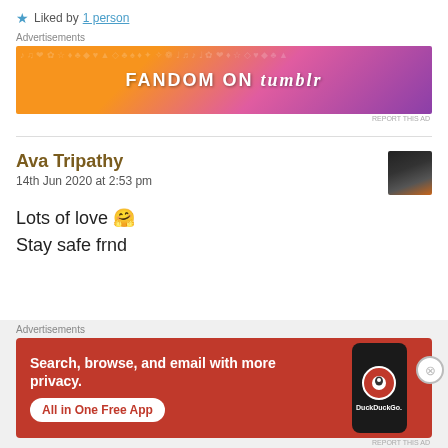★ Liked by 1 person
Advertisements
[Figure (illustration): FANDOM ON tumblr banner advertisement with colorful orange-to-purple gradient background and decorative doodles]
Ava Tripathy
14th Jun 2020 at 2:53 pm
Lots of love 🤗
Stay safe frnd
Advertisements
[Figure (illustration): DuckDuckGo advertisement: Search, browse, and email with more privacy. All in One Free App. Shows phone with DuckDuckGo logo.]